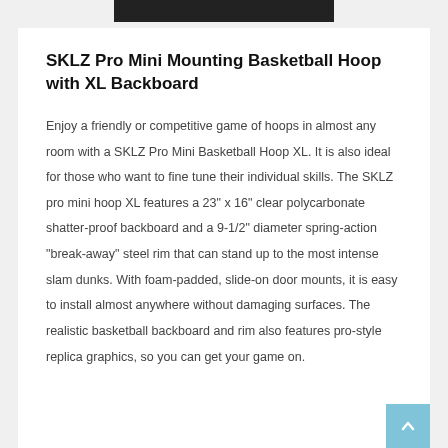SKLZ Pro Mini Mounting Basketball Hoop with XL Backboard
Enjoy a friendly or competitive game of hoops in almost any room with a SKLZ Pro Mini Basketball Hoop XL. It is also ideal for those who want to fine tune their individual skills. The SKLZ pro mini hoop XL features a 23" x 16" clear polycarbonate shatter-proof backboard and a 9-1/2" diameter spring-action "break-away" steel rim that can stand up to the most intense slam dunks. With foam-padded, slide-on door mounts, it is easy to install almost anywhere without damaging surfaces. The realistic basketball backboard and rim also features pro-style replica graphics, so you can get your game on.